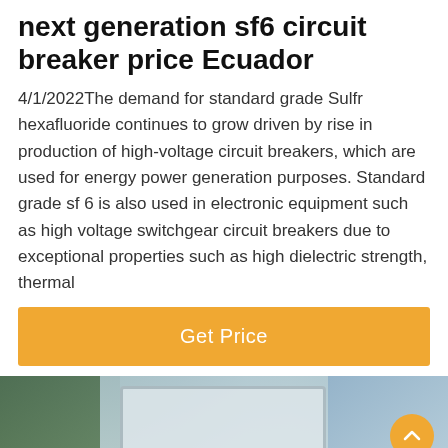next generation sf6 circuit breaker price Ecuador
4/1/2022The demand for standard grade Sulfr hexafluoride continues to grow driven by rise in production of high-voltage circuit breakers, which are used for energy power generation purposes. Standard grade sf 6 is also used in electronic equipment such as high voltage switchgear circuit breakers due to exceptional properties such as high dielectric strength, thermal
[Figure (other): Orange 'Get Price' button]
[Figure (photo): Photo of industrial/electrical equipment with a monitor visible in the background, outdoor setting with blue sky. Overlaid with a customer service avatar circle with headset at the bottom center, an orange scroll-to-top button at the right, and a dark bottom navigation bar with 'Leave Message' on the left and 'Chat Online' on the right.]